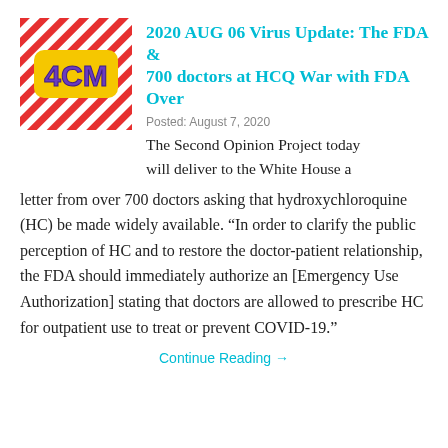[Figure (logo): 4CM logo with red diagonal stripes pattern and yellow rounded rectangle with blue/purple '4CM' text]
2020 AUG 06 Virus Update: The FDA & 700 doctors at HCQ War with FDA Over
Posted: August 7, 2020
The Second Opinion Project today will deliver to the White House a letter from over 700 doctors asking that hydroxychloroquine (HC) be made widely available. “In order to clarify the public perception of HC and to restore the doctor-patient relationship, the FDA should immediately authorize an [Emergency Use Authorization] stating that doctors are allowed to prescribe HC for outpatient use to treat or prevent COVID-19.”
Continue Reading →